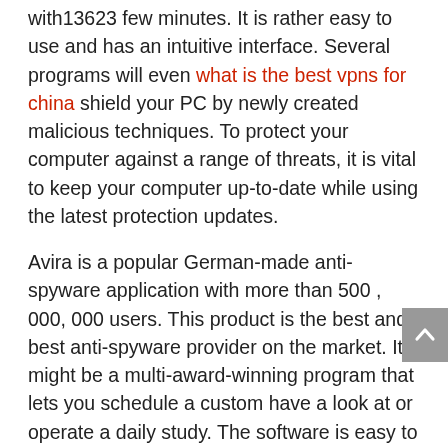with13623 few minutes. It is rather easy to use and has an intuitive interface. Several programs will even what is the best vpns for china shield your PC by newly created malicious techniques. To protect your computer against a range of threats, it is vital to keep your computer up-to-date while using the latest protection updates.
Avira is a popular German-made anti-spyware application with more than 500 , 000, 000 users. This product is the best and best anti-spyware provider on the market. It might be a multi-award-winning program that lets you schedule a custom have a look at or operate a daily study. The software is easy to install and allows you to customise scans and block sites which have been known to get spread around spyware.
Bitdefender is another well-liked and reliable anti-spyware program. The program uses rule/definition processes to identify and remove spyware. The